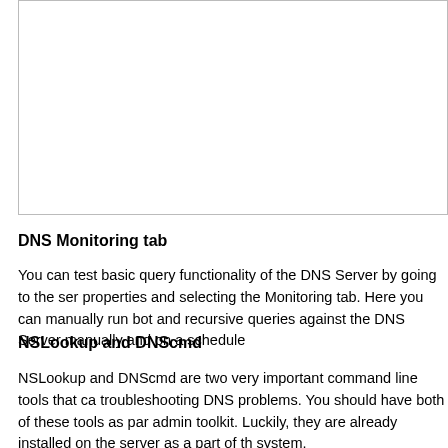[Figure (screenshot): A bordered white box representing a screenshot or image placeholder at the top of the page.]
DNS Monitoring tab
You can test basic query functionality of the DNS Server by going to the server properties and selecting the Monitoring tab. Here you can manually run both and recursive queries against the DNS Server manually and on a schedule.
NSLookup and DNScmd
NSLookup and DNScmd are two very important command line tools that can troubleshooting DNS problems. You should have both of these tools as part of your admin toolkit. Luckily, they are already installed on the server as a part of the system.